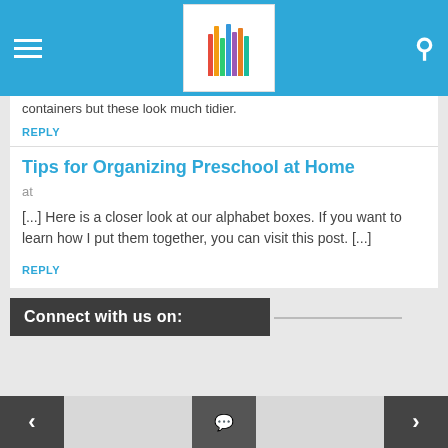The Homeschool Blog
containers but these look much tidier.
REPLY
Tips for Organizing Preschool at Home
at
[...] Here is a closer look at our alphabet boxes. If you want to learn how I put them together, you can visit this post. [...]
REPLY
Connect with us on: